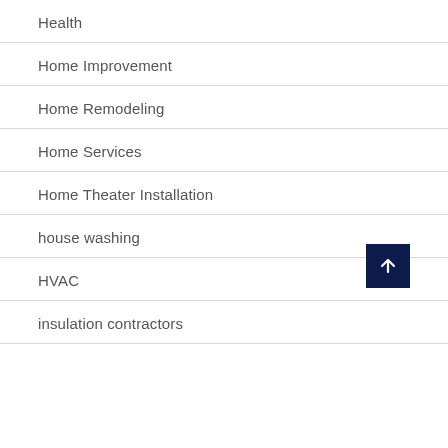Health
Home Improvement
Home Remodeling
Home Services
Home Theater Installation
house washing
HVAC
insulation contractors